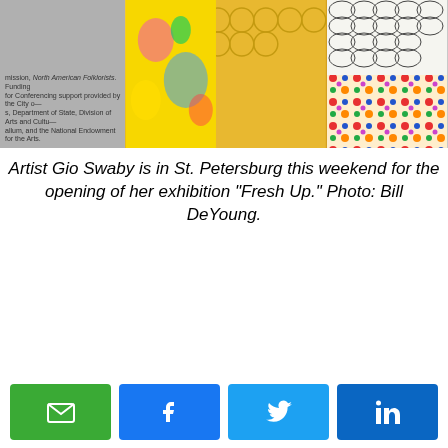[Figure (photo): Photo of artist Gio Swaby at her exhibition opening, showing colorful patterned dresses and artwork in the background]
Artist Gio Swaby is in St. Petersburg this weekend for the opening of her exhibition "Fresh Up." Photo: Bill DeYoung.